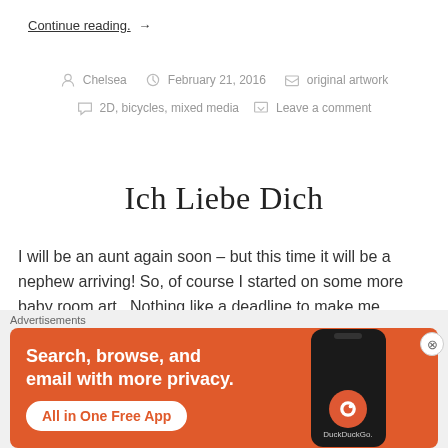Continue reading. →
Chelsea  February 21, 2016  original artwork  2D, bicycles, mixed media  Leave a comment
Ich Liebe Dich
I will be an aunt again soon – but this time it will be a nephew arriving! So, of course I started on some more baby room art. Nothing like a deadline to make me complete artwork. Love being forced to work
Advertisements
[Figure (infographic): DuckDuckGo advertisement banner: orange background with text 'Search, browse, and email with more privacy. All in One Free App' and a smartphone showing the DuckDuckGo logo.]